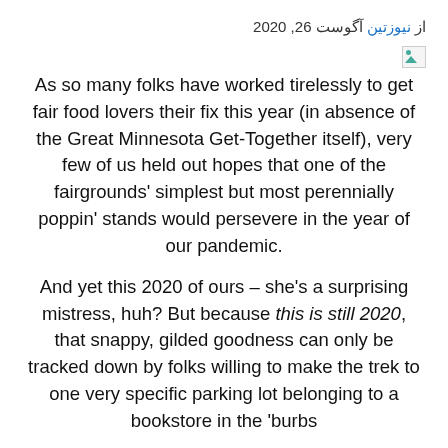از نیوزتین آگوست 26, 2020
[Figure (photo): Broken/missing image icon placeholder]
As so many folks have worked tirelessly to get fair food lovers their fix this year (in absence of the Great Minnesota Get-Together itself), very few of us held out hopes that one of the fairgrounds' simplest but most perennially poppin' stands would persevere in the year of our pandemic.
And yet this 2020 of ours – she's a surprising mistress, huh? But because this is still 2020, that snappy, gilded goodness can only be tracked down by folks willing to make the trek to one very specific parking lot belonging to a bookstore in the 'burbs